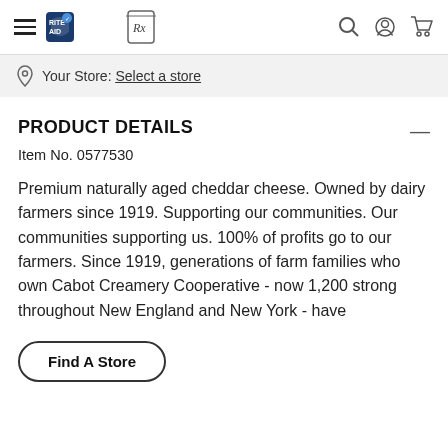Rite Aid navigation bar with hamburger menu, logo, Rx icon, search, account, and cart icons
Your Store: Select a store
PRODUCT DETAILS
Item No. 0577530
Premium naturally aged cheddar cheese. Owned by dairy farmers since 1919. Supporting our communities. Our communities supporting us. 100% of profits go to our farmers. Since 1919, generations of farm families who own Cabot Creamery Cooperative - now 1,200 strong throughout New England and New York - have
Find A Store